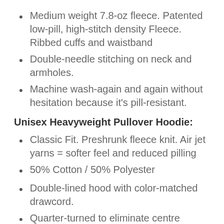Medium weight 7.8-oz fleece. Patented low-pill, high-stitch density Fleece. Ribbed cuffs and waistband
Double-needle stitching on neck and armholes.
Machine wash-again and again without hesitation because it's pill-resistant.
Unisex Heavyweight Pullover Hoodie:
Classic Fit. Preshrunk fleece knit. Air jet yarns = softer feel and reduced pilling
50% Cotton / 50% Polyester
Double-lined hood with color-matched drawcord.
Quarter-turned to eliminate centre crease.